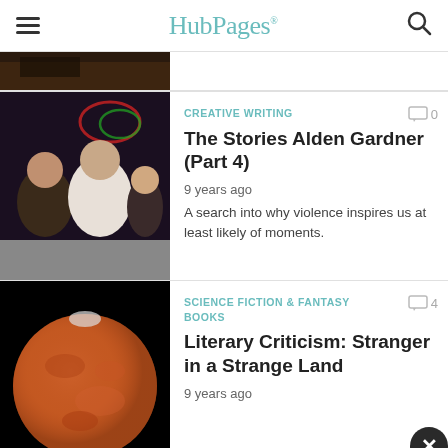HubPages
[Figure (photo): Partial view of a dark nightclub scene, cropped at bottom of strip]
CREATIVE WRITING
The Stories Alden Gardner (Part 4)
9 years ago
A search into why violence inspires us at least likely of moments.
[Figure (photo): Nightclub scene with people socializing under neon lights]
SCIENCE FICTION & FANTASY BOOKS
Literary Criticism: Stranger in a Strange Land
9 years ago
[Figure (photo): Planet Mars against black background]